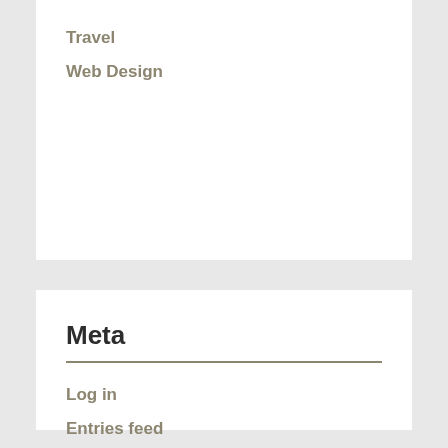Travel
Web Design
Meta
Log in
Entries feed
Comments feed
WordPress.org